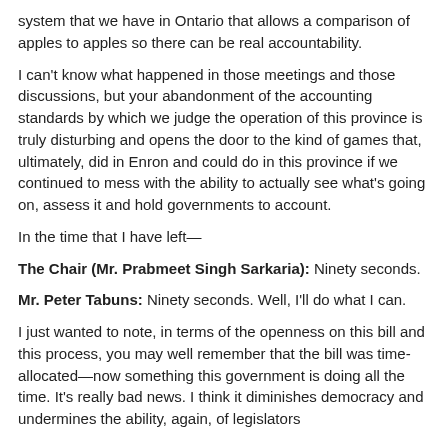system that we have in Ontario that allows a comparison of apples to apples so there can be real accountability.
I can't know what happened in those meetings and those discussions, but your abandonment of the accounting standards by which we judge the operation of this province is truly disturbing and opens the door to the kind of games that, ultimately, did in Enron and could do in this province if we continued to mess with the ability to actually see what's going on, assess it and hold governments to account.
In the time that I have left—
The Chair (Mr. Prabmeet Singh Sarkaria): Ninety seconds.
Mr. Peter Tabuns: Ninety seconds. Well, I'll do what I can.
I just wanted to note, in terms of the openness on this bill and this process, you may well remember that the bill was time-allocated—now something this government is doing all the time. It's really bad news. I think it diminishes democracy and undermines the ability, again, of legislators